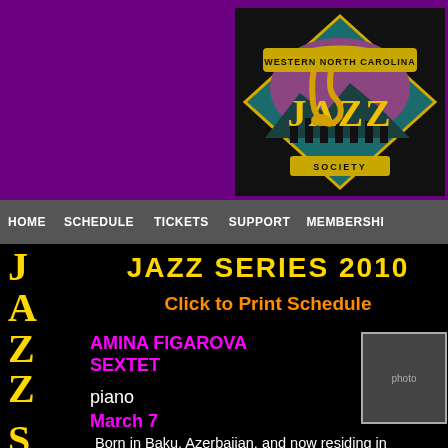[Figure (logo): Western North Carolina Jazz Society logo - diamond shape with saxophone, mountains, and city silhouette on dark background, yellow and teal colors]
HOME  SCHEDULE  TICKETS  SUPPORT  MEMBERSHIP
JAZZ SERIES 2010
Click to Print Schedule
AMINA FIGAROVA SEXTET
piano
March 7
Born in Baku, Azerbaijan, and now residing in Rotterdam, the Netherlands,